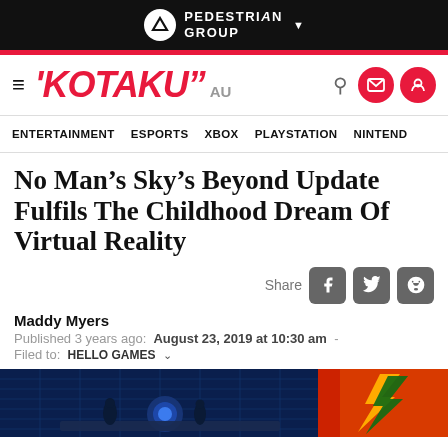PEDESTRIAN GROUP
KOTAKU AU — ENTERTAINMENT  ESPORTS  XBOX  PLAYSTATION  NINTENDO
No Man's Sky's Beyond Update Fulfils The Childhood Dream Of Virtual Reality
Share
Maddy Myers
Published 3 years ago:  August 23, 2019 at 10:30 am  -  Filed to:  HELLO GAMES
[Figure (screenshot): Screenshot from No Man's Sky Beyond update showing two characters on an alien platform with a glowing sphere and a stylized logo on the right.]